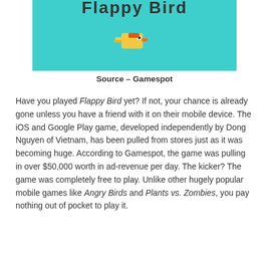[Figure (screenshot): Flappy Bird game screenshot showing a pixel-art bird on a teal/cyan background with the game title at the top]
Source – Gamespot
Have you played Flappy Bird yet? If not, your chance is already gone unless you have a friend with it on their mobile device. The iOS and Google Play game, developed independently by Dong Nguyen of Vietnam, has been pulled from stores just as it was becoming huge. According to Gamespot, the game was pulling in over $50,000 worth in ad-revenue per day. The kicker? The game was completely free to play. Unlike other hugely popular mobile games like Angry Birds and Plants vs. Zombies, you pay nothing out of pocket to play it.